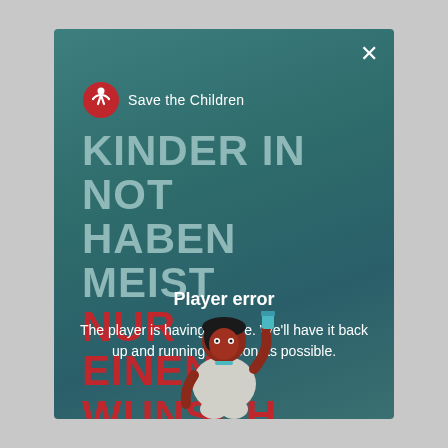[Figure (logo): Save the Children logo with red figure icon and white text 'Save the Children']
KINDER IN NOT HABEN MEIST NUR EINEN WUNSCH
Player error
The player is having trouble. We'll have it back up and running as soon as possible.
[Figure (illustration): Animated character illustration of a child with dark skin, red shirt and white pants, pointing upward with one finger, with dark hair]